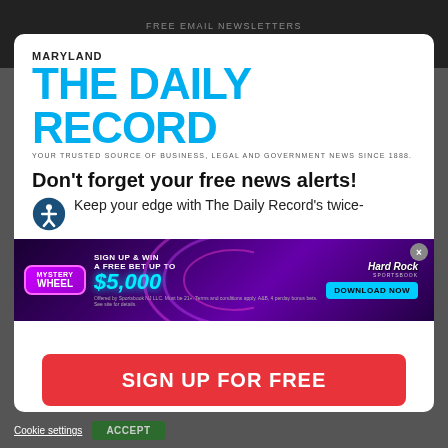FREE EMAIL NEWSLETTERS
MANAGE ACCOUNT
[Figure (logo): Maryland The Daily Record logo — MARYLAND above large cyan THE DAILY RECORD text, tagline: YOUR TRUSTED SOURCE OF BUSINESS, LEGAL AND GOVERNMENT NEWS SINCE 1888.]
Don't forget your free news alerts!
Keep your edge with The Daily Record's twice-
[Figure (screenshot): Hard Rock Sportsbook ad banner — Mystery Wheel, Sign Up & Win A Free Bet Up To $5,000, Download Now button]
SIGN UP FOR FREE
Cookie settings   ACCEPT